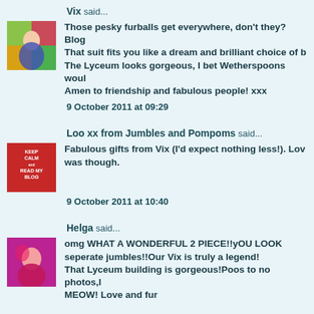Vix said...
Those pesky furballs get everywhere, don't they? Blog That suit fits you like a dream and brilliant choice of b The Lyceum looks gorgeous, I bet Wetherspoons woul Amen to friendship and fabulous people! xxx
9 October 2011 at 09:29
Loo xx from Jumbles and Pompoms said...
Fabulous gifts from Vix (I'd expect nothing less!). Lov was though.
9 October 2011 at 10:40
Helga said...
omg WHAT A WONDERFUL 2 PIECE!!yOU LOOK seperate jumbles!!Our Vix is truly a legend! That Lyceum building is gorgeous!Poos to no photos,I MEOW! Love and fur